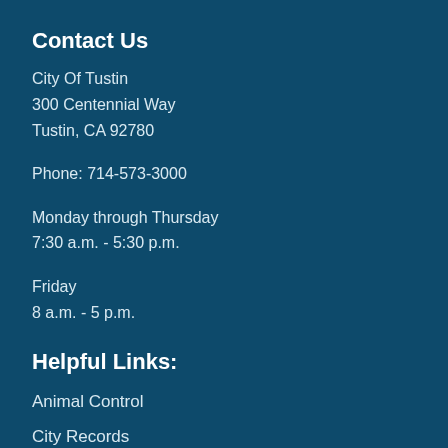Contact Us
City Of Tustin
300 Centennial Way
Tustin, CA 92780
Phone: 714-573-3000
Monday through Thursday
7:30 a.m. - 5:30 p.m.
Friday
8 a.m. - 5 p.m.
Helpful Links:
Animal Control
City Records
Crime Prevention